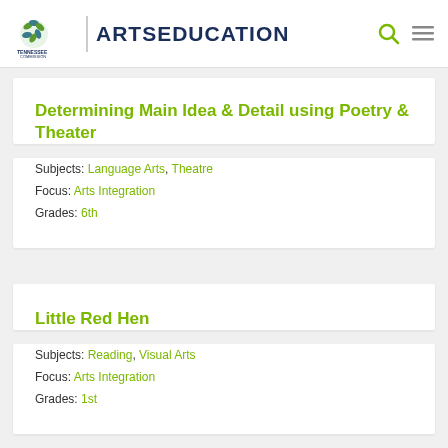Tennessee Arts Commission Arts Education
Determining Main Idea & Detail using Poetry & Theater
Subjects: Language Arts, Theatre
Focus: Arts Integration
Grades: 6th
Little Red Hen
Subjects: Reading, Visual Arts
Focus: Arts Integration
Grades: 1st